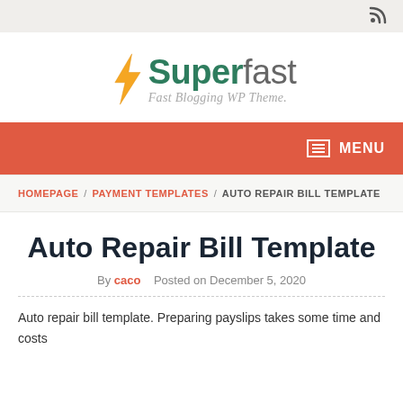RSS icon top bar
[Figure (logo): Superfast logo with lightning bolt icon, tagline: Fast Blogging WP Theme.]
MENU navigation bar
HOMEPAGE / PAYMENT TEMPLATES / AUTO REPAIR BILL TEMPLATE
Auto Repair Bill Template
By caco   Posted on December 5, 2020
Auto repair bill template. Preparing payslips takes some time and costs